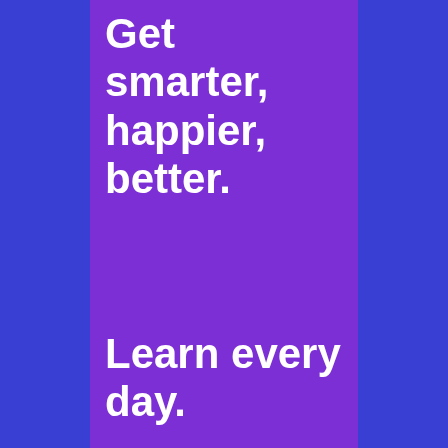Get smarter, happier, better.
Learn every day.
[Figure (illustration): Cartoon illustration of a person with brown hair and glasses, reading or looking down]